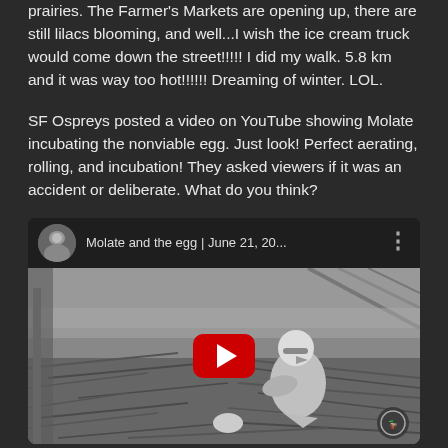prairies. The Farmer's Markets are opening up, there are still lilacs blooming, and well...I wish the ice cream truck would come down the street!!!!! I did my walk. 5.8 km and it was way too hot!!!!!! Dreaming of winter. LOL.
SF Ospreys posted a video on YouTube showing Molate incubating the nonviable egg. Just look! Perfect aerating, rolling, and incubation! They asked viewers if it was an accident or deliberate. What do you think?
[Figure (screenshot): Embedded YouTube video thumbnail showing 'Molate and the egg | June 21, 20...' with a grayscale image of an osprey bird on a nest with a red YouTube play button overlay. A small circular channel thumbnail is visible in the video header area.]